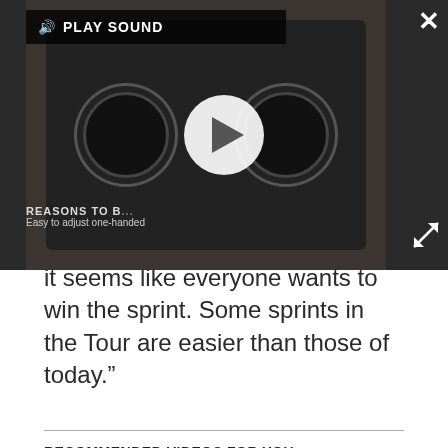[Figure (screenshot): Video player overlay showing a cassette tape thumbnail with a play button, a 'PLAY SOUND' bar at the top, a close (X) button top-right, an expand button bottom-right, and overlay text reading 'REASONS TO B...' and 'Easy to adjust one-handed']
it seems like everyone wants to win the sprint. Some sprints in the Tour are easier than those of today.”
RECOMMENDED VIDEOS FOR YOU...